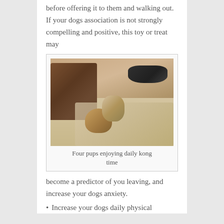must be done for several days before offering it to them and walking out. If your dogs association is not strongly compelling and positive, this toy or treat may
[Figure (photo): Four dogs in a living room on a rug, some chewing on kong toys. A leather chair is visible on the left, and a dark dog rests in the background.]
Four pups enjoying daily kong time
become a predictor of you leaving, and increase your dogs anxiety.
Increase your dogs daily physical